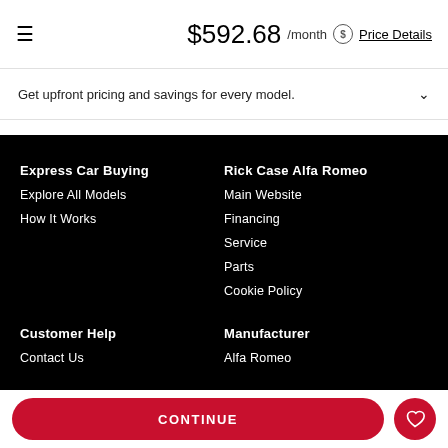$592.68 /month $ Price Details
Get upfront pricing and savings for every model.
Express Car Buying
Explore All Models
How It Works
Rick Case Alfa Romeo
Main Website
Financing
Service
Parts
Cookie Policy
Customer Help
Contact Us
Manufacturer
Alfa Romeo
CONTINUE